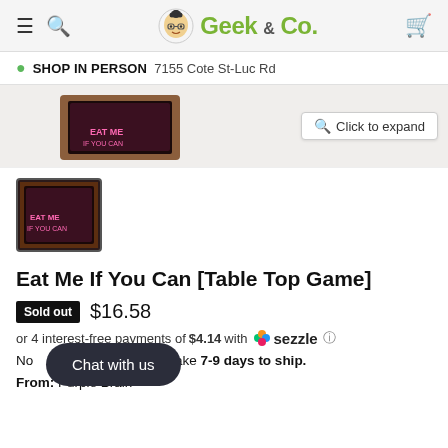Geek & Co.
SHOP IN PERSON  7155 Cote St-Luc Rd
[Figure (photo): Partial view of product box (Eat Me If You Can game) and a Click to expand button]
[Figure (photo): Thumbnail image of Eat Me If You Can table top game product box]
Eat Me If You Can [Table Top Game]
Sold out  $16.58
or 4 interest-free payments of $4.14 with Sezzle
Note: Pre-order item may take 7-9 days to ship.
From: Purple Brain
Chat with us